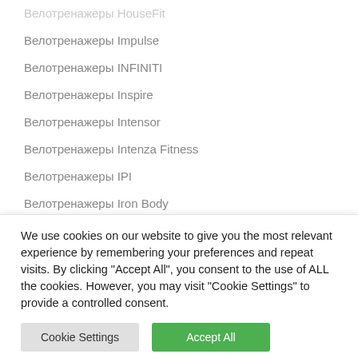Велотренажеры HouseFit
Велотренажеры Impulse
Велотренажеры INFINITI
Велотренажеры Inspire
Велотренажеры Intensor
Велотренажеры Intenza Fitness
Велотренажеры IPI
Велотренажеры Iron Body
Велотренажеры Ironman Fitness
Велотренажеры IZHIMIO
Велотренажеры Jet Stream
We use cookies on our website to give you the most relevant experience by remembering your preferences and repeat visits. By clicking "Accept All", you consent to the use of ALL the cookies. However, you may visit "Cookie Settings" to provide a controlled consent.